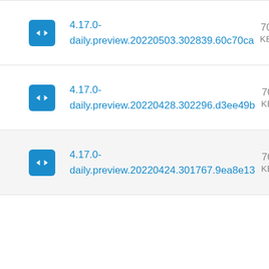4.17.0-daily.preview.20220503.302839.60c70ca
4.17.0-daily.preview.20220428.302296.d3ee49b
4.17.0-daily.preview.20220424.301767.9ea8e13